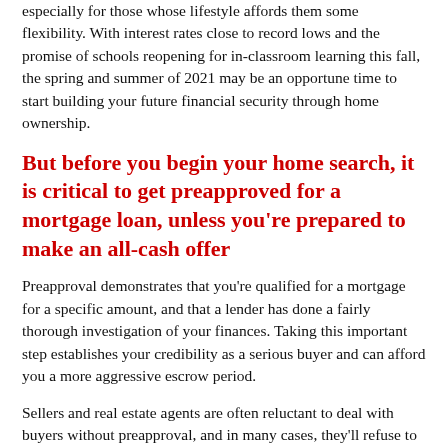especially for those whose lifestyle affords them some flexibility. With interest rates close to record lows and the promise of schools reopening for in-classroom learning this fall, the spring and summer of 2021 may be an opportune time to start building your future financial security through home ownership.
But before you begin your home search, it is critical to get preapproved for a mortgage loan, unless you're prepared to make an all-cash offer
Preapproval demonstrates that you're qualified for a mortgage for a specific amount, and that a lender has done a fairly thorough investigation of your finances. Taking this important step establishes your credibility as a serious buyer and can afford you a more aggressive escrow period.
Sellers and real estate agents are often reluctant to deal with buyers without preapproval, and in many cases, they'll refuse to consider a bid from someone without one, preferring to entertain offers from those who seem a safer bet. However, there are other important benefits of mortgage preapproval. For instance, you'll get a clear sense of exactly how much home you can afford, so that you don't set yourself up for disappointment, or waste time looking at homes that are out of your price range. In addition...